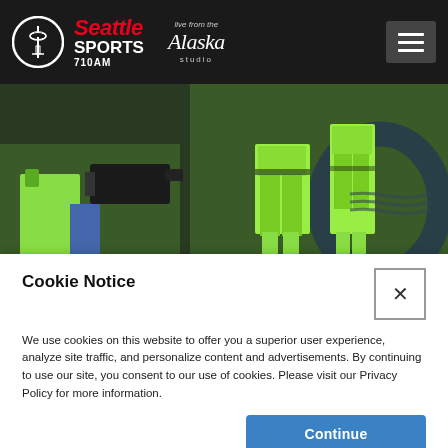[Figure (logo): Seattle Sports 710AM logo with Space Needle icon in circle, red and white text on dark background, alongside Alaska Airlines 'Live from the Alaska studio' branding]
[Figure (photo): Sports action photo showing people in bright neon green Seattle Seahawks uniforms/gear on a field, with a camera operator visible on the left and the Seahawks logo visible in the background]
Cookie Notice
We use cookies on this website to offer you a superior user experience, analyze site traffic, and personalize content and advertisements. By continuing to use our site, you consent to our use of cookies. Please visit our Privacy Policy for more information.
Continue